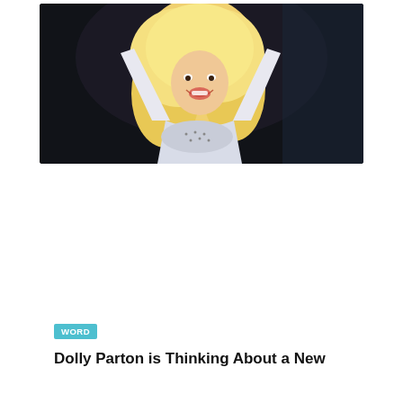[Figure (photo): Dolly Parton performing on stage with arms raised, wearing a white outfit with a sparkly top, against a dark background. She has long blonde hair and is smiling widely.]
WORD
Dolly Parton is Thinking About a New